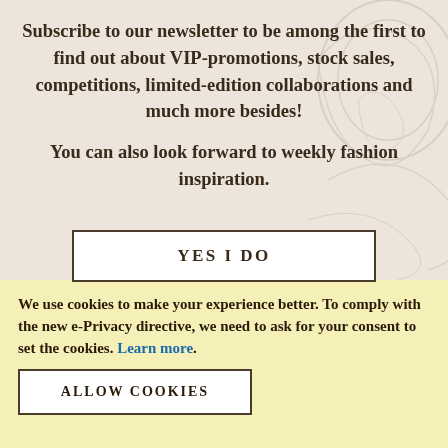Subscribe to our newsletter to be among the first to find out about VIP-promotions, stock sales, competitions, limited-edition collaborations and much more besides!

You can also look forward to weekly fashion inspiration.
YES I DO
We use cookies to make your experience better. To comply with the new e-Privacy directive, we need to ask for your consent to set the cookies. Learn more.
ALLOW COOKIES